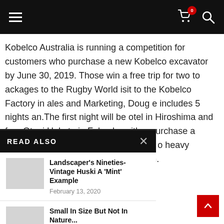Navigation bar with hamburger menu, cart (0 items), and search icon
Kobelco Australia is running a competition for customers who purchase a new Kobelco excavator by June 30, 2019. Those win a free trip for two to ackages to the Rugby World isit to the Kobelco Factory in ales and Marketing, Doug e includes 5 nights an.The first night will be otel in Hiroshima and four Otani Hakata in Fukuoka with o purchase a Kobelco mini be allocated 1 entry and o heavy excavator (over 6 into this competition.
READ ALSO
Landscaper's Nineties-Vintage Huski A 'Mint' Example — February 13, 2020
Small In Size But Not In Nature... — April 16, 2019
Generous Eofy Offers On Multi Award Winning... — September 16, 2019